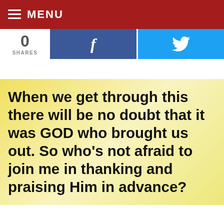≡ MENU
[Figure (infographic): Social share bar with 0 shares count, Facebook button with 'f' icon, Twitter button with bird icon]
When we get through this there will be no doubt that it was GOD who brought us out. So who's not afraid to join me in thanking and praising Him in advance?